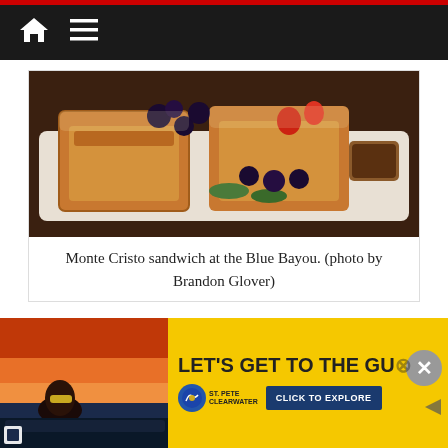Navigation bar with home and menu icons
[Figure (photo): Monte Cristo sandwich on a white rectangular plate garnished with fresh blackberries, strawberries, and greens at the Blue Bayou restaurant]
Monte Cristo sandwich at the Blue Bayou. (photo by Brandon Glover)
[Figure (photo): Outdoor pool or resort scene with a person in the foreground and trees/mountain in the background]
[Figure (photo): Advertisement: Woman with sunglasses relaxing at a pool at sunset, St. Pete Clearwater tourism ad with headline LET'S GET TO THE GU[LF] and CLICK TO EXPLORE button]